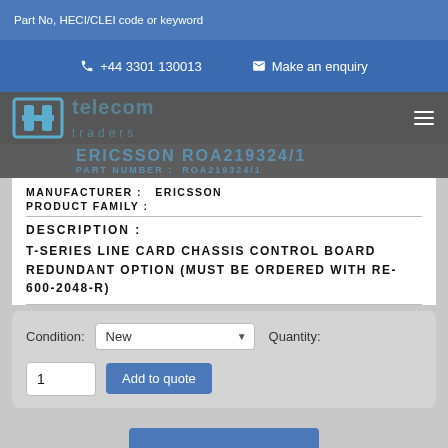Part No, HECI/CLEI code or keyword
+44 3301 130013
Make an enquiry
ERICSSON ROA219324/1
PART NUMBER : ROA219324/1
MANUFACTURER : ERICSSON
PRODUCT FAMILY :
DESCRIPTION :
T-SERIES LINE CARD CHASSIS CONTROL BOARD REDUNDANT OPTION (MUST BE ORDERED WITH RE-600-2048-R)
Condition: New   Quantity:
1   Add to quote